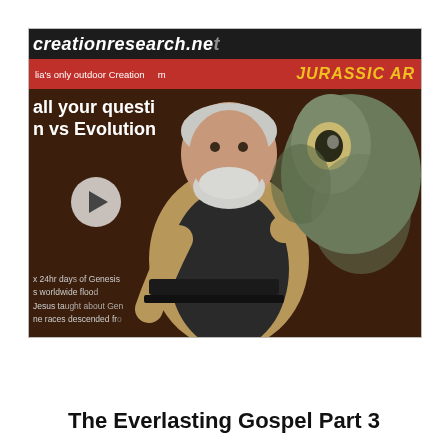[Figure (screenshot): Video thumbnail showing a male presenter with white beard and hair, wearing a tan vest over a black shirt, standing at a podium with a laptop in front of a banner background that reads 'creationresearch.net', 'Australia's only outdoor Creation museum JURASSIC ARK', 'all your questions answered', 'Creation vs Evolution', '6 24hr days of Genesis', 'the worldwide flood', 'Jesus taught about Genesis', 'the races descended from Adam'. A play button circle overlay is visible on the left side of the image.]
The Everlasting Gospel Part 3